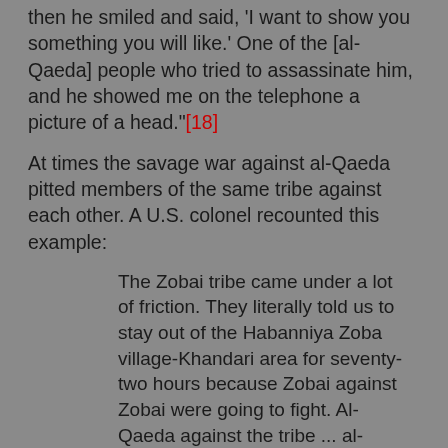then he smiled and said, 'I want to show you something you will like.' One of the [al-Qaeda] people who tried to assassinate him, and he showed me on the telephone a picture of a head."[18]
At times the savage war against al-Qaeda pitted members of the same tribe against each other. A U.S. colonel recounted this example:
The Zobai tribe came under a lot of friction. They literally told us to stay out of the Habanniya Zoba village-Khandari area for seventy-two hours because Zobai against Zobai were going to fight. Al-Qaeda against the tribe ... al-Qaeda would come into the village, and they would sit down and have a meeting. It is tribal, and they would negotiate, and if they couldn't solve the negotiations, then there was going to be a fight. After twenty-four hours of fighting, they couldn't handle it, and they asked us to come in and support them. So for about the last week of March, we had a fairly significant fight, and for the Zobais, that was the first example and